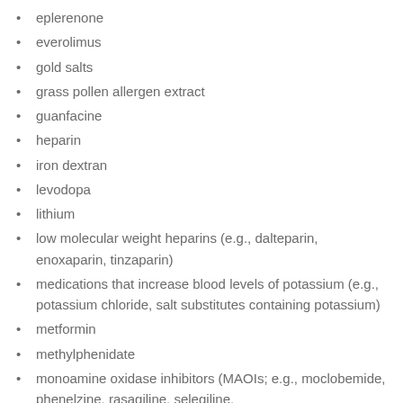eplerenone
everolimus
gold salts
grass pollen allergen extract
guanfacine
heparin
iron dextran
levodopa
lithium
low molecular weight heparins (e.g., dalteparin, enoxaparin, tinzaparin)
medications that increase blood levels of potassium (e.g., potassium chloride, salt substitutes containing potassium)
metformin
methylphenidate
monoamine oxidase inhibitors (MAOIs; e.g., moclobemide, phenelzine, rasagiline, selegiline,